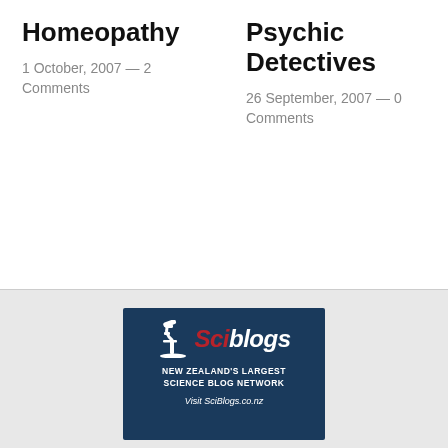Homeopathy
1 October, 2007 — 2 Comments
Psychic Detectives
26 September, 2007 — 0 Comments
[Figure (logo): Sciblogs logo - New Zealand's Largest Science Blog Network. Visit SciBlogs.co.nz]